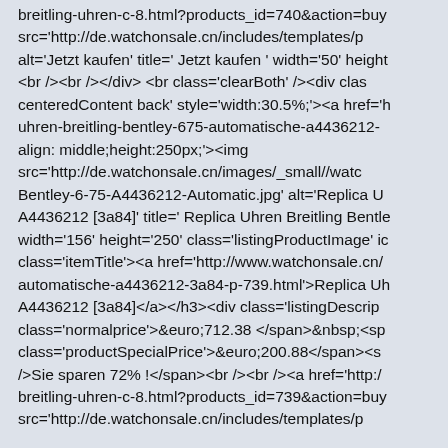breitling-uhren-c-8.html?products_id=740&action=buy src='http://de.watchonsale.cn/includes/templates/p alt='Jetzt kaufen' title=' Jetzt kaufen ' width='50' height <br /><br /></div> <br class='clearBoth' /><div clas centeredContent back' style='width:30.5%;'><a href='h uhren-breitling-bentley-675-automatische-a4436212- align: middle;height:250px;'><img src='http://de.watchonsale.cn/images/_small//watc Bentley-6-75-A4436212-Automatic.jpg' alt='Replica U A4436212 [3a84]' title=' Replica Uhren Breitling Bentle width='156' height='250' class='listingProductImage' ic class='itemTitle'><a href='http://www.watchonsale.cn/ automatische-a4436212-3a84-p-739.html'>Replica Uh A4436212 [3a84]</a></h3><div class='listingDescrip class='normalprice'>&euro;712.38 </span>&nbsp;<sp class='productSpecialPrice'>&euro;200.88</span><s />Sie sparen 72% !</span><br /><br /><a href='http:/ breitling-uhren-c-8.html?products_id=739&action=buy src='http://de.watchonsale.cn/includes/templates/p